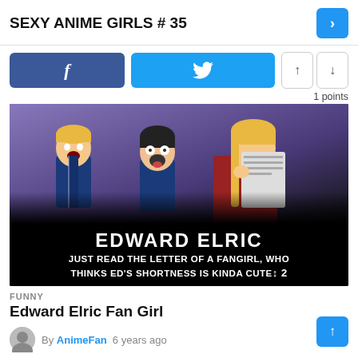SEXY ANIME GIRLS # 35
[Figure (illustration): Meme image featuring anime characters from Fullmetal Alchemist with text 'EDWARD ELRIC' and 'JUST READ THE LETTER OF A FANGIRL, WHO THINKS ED'S SHORTNESS IS KINDA CUTE...' with vote count 2]
FUNNY
Edward Elric Fan Girl
By AnimeFan  6 years ago